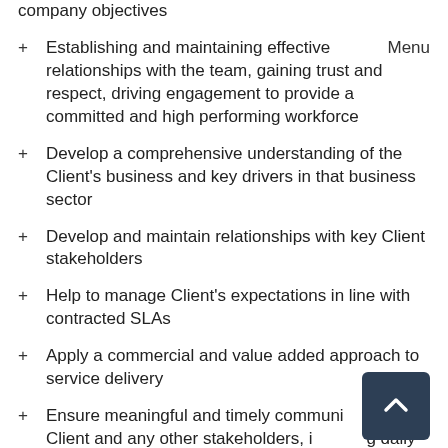company objectives
Establishing and maintaining effective relationships with the team, gaining trust and respect, driving engagement to provide a committed and high performing workforce
Develop a comprehensive understanding of the Client's business and key drivers in that business sector
Develop and maintain relationships with key Client stakeholders
Help to manage Client's expectations in line with contracted SLAs
Apply a commercial and value added approach to service delivery
Ensure meaningful and timely communication with Client and any other stakeholders, including daily and monthly reviews and reporting